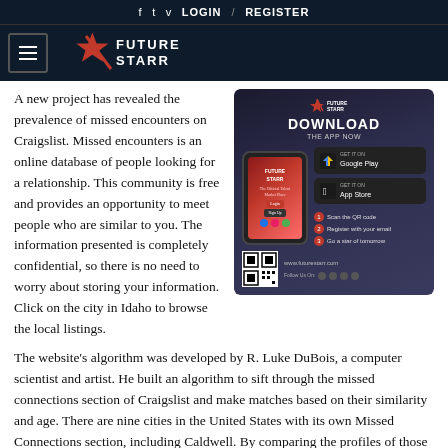f  t  v  LOGIN  /  REGISTER
[Figure (logo): Future Starr logo with hamburger menu icon]
A new project has revealed the prevalence of missed encounters on Craigslist. Missed encounters is an online database of people looking for a relationship. This community is free and provides an opportunity to meet people who are similar to you. The information presented is completely confidential, so there is no need to worry about storing your information. Click on the city in Idaho to browse the local listings.
[Figure (advertisement): Future Starr app advertisement with download button, Google Play and App Store buttons, QR code, and steps to get started]
The website's algorithm was developed by R. Luke DuBois, a computer scientist and artist. He built an algorithm to sift through the missed connections section of Craigslist and make matches based on their similarity and age. There are nine cities in the United States with its own Missed Connections section, including Caldwell. By comparing the profiles of those looking for love on Craigslist, the website can recommend matches